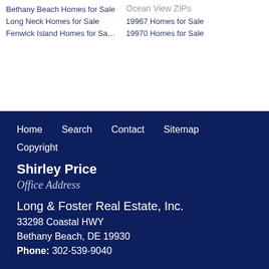Bethany Beach Homes for Sale
Long Neck Homes for Sale
Fenwick Island Homes for Sa…
Ocean View ZIPs
19967 Homes for Sale
19970 Homes for Sale
Home  Search  Contact  Sitemap  Copyright  Shirley Price  Office Address  Long & Foster Real Estate, Inc.  33298 Coastal HWY  Bethany Beach, DE 19930  Phone: 302-539-9040